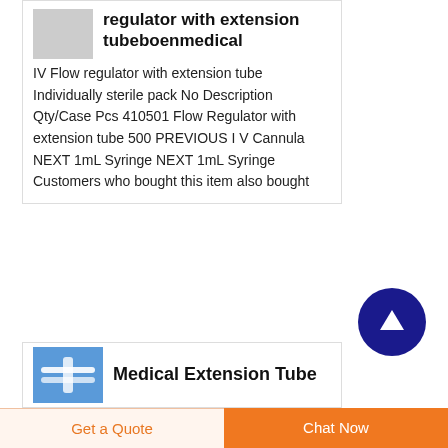regulator with extension tubeboenmedical
IV Flow regulator with extension tube Individually sterile pack No Description Qty/Case Pcs 410501 Flow Regulator with extension tube 500 PREVIOUS I V Cannula NEXT 1mL Syringe NEXT 1mL Syringe Customers who bought this item also bought
Medical Extension Tube
Get a Quote
Chat Now